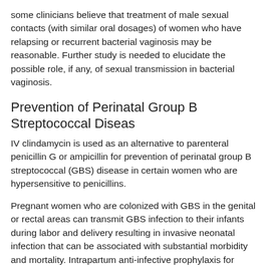some clinicians believe that treatment of male sexual contacts (with similar oral dosages) of women who have relapsing or recurrent bacterial vaginosis may be reasonable. Further study is needed to elucidate the possible role, if any, of sexual transmission in bacterial vaginosis.
Prevention of Perinatal Group B Streptococcal Diseas
IV clindamycin is used as an alternative to parenteral penicillin G or ampicillin for prevention of perinatal group B streptococcal (GBS) disease in certain women who are hypersensitive to penicillins.
Pregnant women who are colonized with GBS in the genital or rectal areas can transmit GBS infection to their infants during labor and delivery resulting in invasive neonatal infection that can be associated with substantial morbidity and mortality. Intrapartum anti-infective prophylaxis for prevention of early-onset neonatal GBS disease is administered selectively to women at high risk for transmitting GBS infection to their neonates.
When intrapartum prophylaxis is indicated in the mother, penicillin G is the preferred drug because of its narrow spectrum of antibacterial activity.